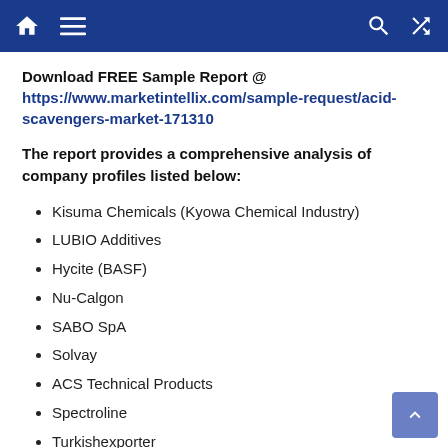Navigation bar with home, menu, search, and shuffle icons
Download FREE Sample Report @ https://www.marketintellix.com/sample-request/acid-scavengers-market-171310
The report provides a comprehensive analysis of company profiles listed below:
Kisuma Chemicals (Kyowa Chemical Industry)
LUBIO Additives
Hycite (BASF)
Nu-Calgon
SABO SpA
Solvay
ACS Technical Products
Spectroline
Turkishexporter